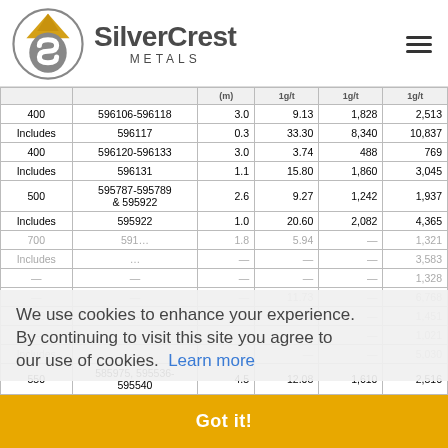[Figure (logo): SilverCrest Metals logo with circular S emblem in gold and grey, company name in dark grey]
|  |  | (m) | 1 | 2 | 3 |
| --- | --- | --- | --- | --- | --- |
| 400 | 596106-596118 | 3.0 | 9.13 | 1,828 | 2,513 |
| Includes | 596117 | 0.3 | 33.30 | 8,340 | 10,837 |
| 400 | 596120-596133 | 3.0 | 3.74 | 488 | 769 |
| Includes | 596131 | 1.1 | 15.80 | 1,860 | 3,045 |
| 500 | 595787-595789 & 595922 | 2.6 | 9.27 | 1,242 | 1,937 |
| Includes | 595922 | 1.0 | 20.60 | 2,082 | 4,365 |
| 700 | 591… | 1.8 | 5.94 | — | 1,321 |
| Includes | … | — | — | — | 3,583 |
| — | — | — | — | — | 1,328 |
| — | — | — | 11.73 | — | 6,768 |
| 110 | … | 2.0 | 10.02 | — | 1,451 |
| — | — | — | — | — | 1,021 |
| Includes | — | — | — | — | 5,030 |
| 550 | 585975, 595536-595540 | 4.5 | 12.08 | 1,610 | 2,516 |
We use cookies to enhance your experience. By continuing to visit this site you agree to our use of cookies.  Learn more